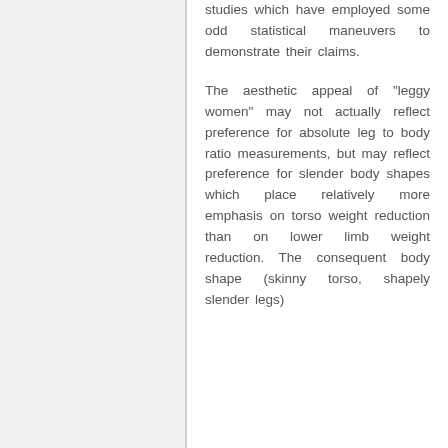studies which have employed some odd statistical maneuvers to demonstrate their claims.
The aesthetic appeal of "leggy women" may not actually reflect preference for absolute leg to body ratio measurements, but may reflect preference for slender body shapes which place relatively more emphasis on torso weight reduction than on lower limb weight reduction. The consequent body shape (skinny torso, shapely slender legs)